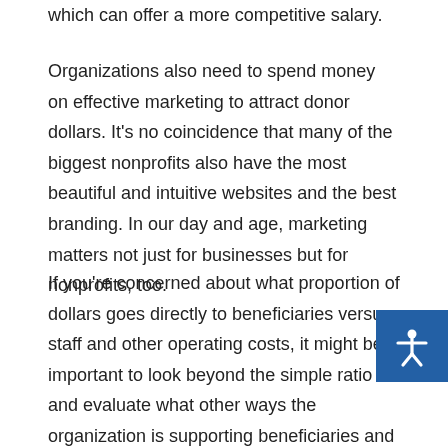which can offer a more competitive salary.
Organizations also need to spend money on effective marketing to attract donor dollars. It's no coincidence that many of the biggest nonprofits also have the most beautiful and intuitive websites and the best branding. In our day and age, marketing matters not just for businesses but for nonprofits, too.
If you're concerned about what proportion of dollars goes directly to beneficiaries versus staff and other operating costs, it might be important to look beyond the simple ratio and evaluate what other ways the organization is supporting beneficiaries and which